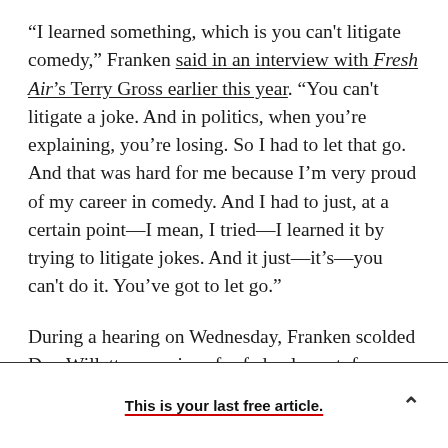“I learned something, which is you can’t litigate comedy,” Franken said in an interview with Fresh Air’s Terry Gross earlier this year. “You can’t litigate a joke. And in politics, when you’re explaining, you’re losing. So I had to let that go. And that was hard for me because I’m very proud of my career in comedy. And I had to just, at a certain point—I mean, I tried—I learned it by trying to litigate jokes. And it just—it’s—you can’t do it. You’ve got to let go.”
During a hearing on Wednesday, Franken scolded Don Willett, a nominee for federal court, for an
This is your last free article.